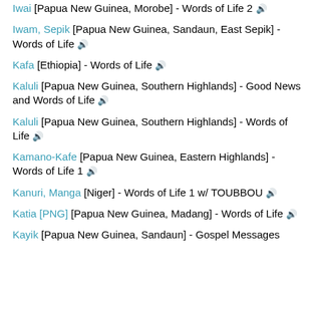Iwai [Papua New Guinea, Morobe] - Words of Life 2 🔊
Iwam, Sepik [Papua New Guinea, Sandaun, East Sepik] - Words of Life 🔊
Kafa [Ethiopia] - Words of Life 🔊
Kaluli [Papua New Guinea, Southern Highlands] - Good News and Words of Life 🔊
Kaluli [Papua New Guinea, Southern Highlands] - Words of Life 🔊
Kamano-Kafe [Papua New Guinea, Eastern Highlands] - Words of Life 1 🔊
Kanuri, Manga [Niger] - Words of Life 1 w/ TOUBBOU 🔊
Katia [PNG] [Papua New Guinea, Madang] - Words of Life 🔊
Kayik [Papua New Guinea, Sandaun] - Gospel Messages